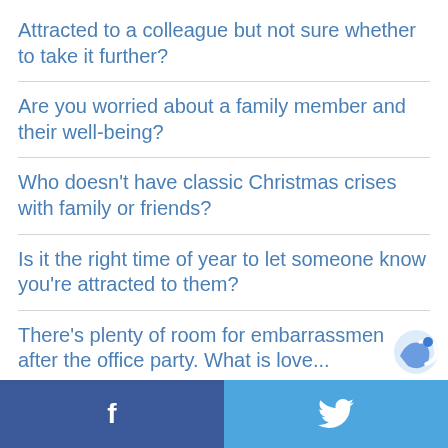Attracted to a colleague but not sure whether to take it further?
Are you worried about a family member and their well-being?
Who doesn't have classic Christmas crises with family or friends?
Is it the right time of year to let someone know you're attracted to them?
There's plenty of room for embarrassment after the office party. What is love...
Tempted to go back to a fling?
f  [twitter bird icon]